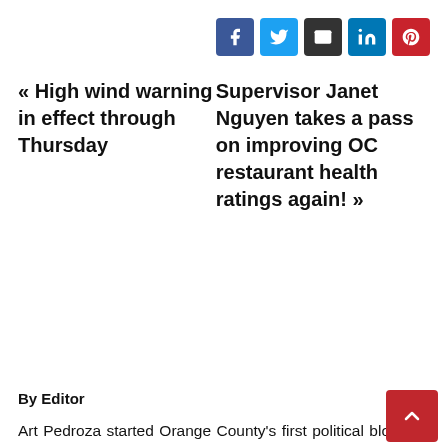[Figure (other): Social sharing buttons: Facebook, Twitter, Email, LinkedIn, Pinterest]
« High wind warning in effect through Thursday
Supervisor Janet Nguyen takes a pass on improving OC restaurant health ratings again! »
By Editor
Art Pedroza started Orange County's first political blog, the Orange Juice, back in 2003. He now publishes the top civic blog in Orange County - New Santa Ana, plus other blogs including New Anaheim, New...